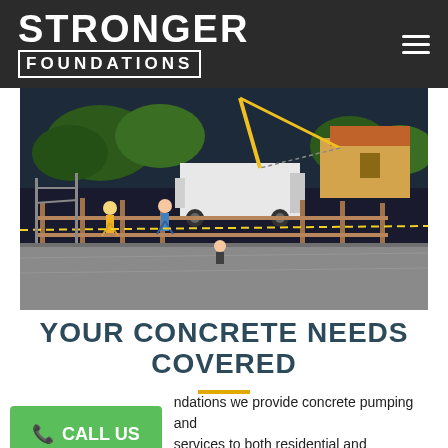STRONGER FOUNDATIONS
[Figure (photo): Construction site photo showing workers smoothing fresh concrete with a concrete pump truck in the background, surrounded by wooden formwork fencing and trees.]
YOUR CONCRETE NEEDS COVERED
ndations we provide concrete pumping and services to both residential and commercial